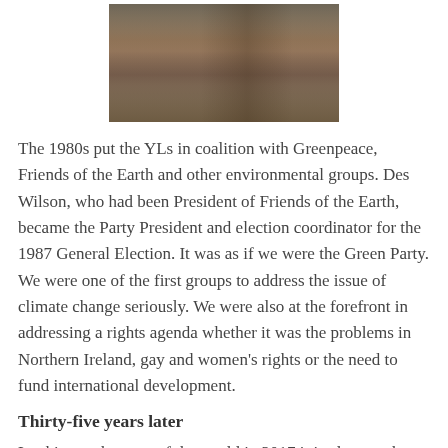[Figure (photo): A black and white or sepia-toned photograph showing a person, partially visible, at what appears to be a podium or speaking platform outdoors.]
The 1980s put the YLs in coalition with Greenpeace, Friends of the Earth and other environmental groups. Des Wilson, who had been President of Friends of the Earth, became the Party President and election coordinator for the 1987 General Election. It was as if we were the Green Party. We were one of the first groups to address the issue of climate change seriously. We were also at the forefront in addressing a rights agenda whether it was the problems in Northern Ireland, gay and women's rights or the need to fund international development.
Thirty-five years later
Looking at the state of the world in 2017 it is clearer where the successes were and where we did not address key issues which we should have done.
Perhaps we should view the bad news first. We had no